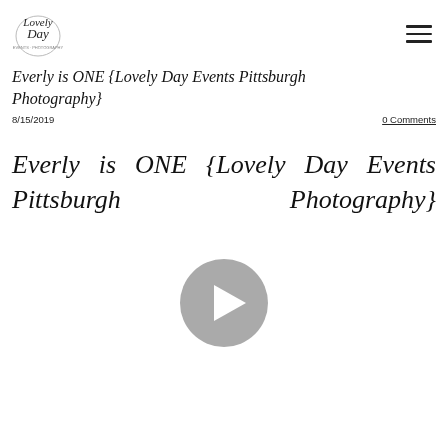Lovely Day [logo] | hamburger menu
Everly is ONE {Lovely Day Events Pittsburgh Photography}
8/15/2019    0 Comments
Everly is ONE {Lovely Day Events Pittsburgh Photography}
[Figure (other): Video player play button circle icon in gray]